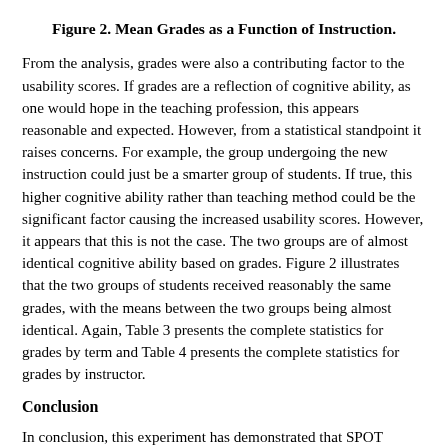Figure 2. Mean Grades as a Function of Instruction.
From the analysis, grades were also a contributing factor to the usability scores. If grades are a reflection of cognitive ability, as one would hope in the teaching profession, this appears reasonable and expected. However, from a statistical standpoint it raises concerns. For example, the group undergoing the new instruction could just be a smarter group of students. If true, this higher cognitive ability rather than teaching method could be the significant factor causing the increased usability scores. However, it appears that this is not the case. The two groups are of almost identical cognitive ability based on grades. Figure 2 illustrates that the two groups of students received reasonably the same grades, with the means between the two groups being almost identical. Again, Table 3 presents the complete statistics for grades by term and Table 4 presents the complete statistics for grades by instructor.
Conclusion
In conclusion, this experiment has demonstrated that SPOT analysis allows usability to be seamlessly integrated with functionality in an undergraduate computer science course.
Apparently the SPOT analysis can lead to significant usability